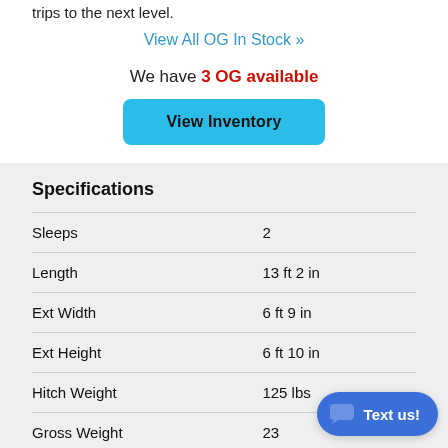trips to the next level.
View All OG In Stock »
We have 3 OG available
View Inventory
Specifications
|  |  |
| --- | --- |
| Sleeps | 2 |
| Length | 13 ft 2 in |
| Ext Width | 6 ft 9 in |
| Ext Height | 6 ft 10 in |
| Hitch Weight | 125 lbs |
| Gross Weight | 23? |
| Dry Weight | 1320 lbs |